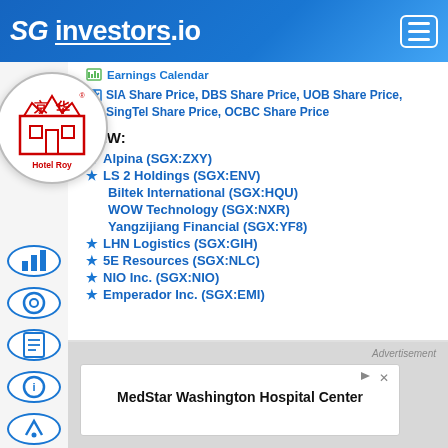SG investors.io
Earnings Calendar
SIA Share Price, DBS Share Price, UOB Share Price, SingTel Share Price, OCBC Share Price
NEW:
Alpina (SGX:ZXY)
LS 2 Holdings (SGX:ENV)
Biltek International (SGX:HQU)
WOW Technology (SGX:NXR)
Yangzijiang Financial (SGX:YF8)
LHN Logistics (SGX:GIH)
5E Resources (SGX:NLC)
NIO Inc. (SGX:NIO)
Emperador Inc. (SGX:EMI)
[Figure (logo): Hotel Royal logo with Chinese characters 京华 in red on white circular background]
Advertisement
MedStar Washington Hospital Center